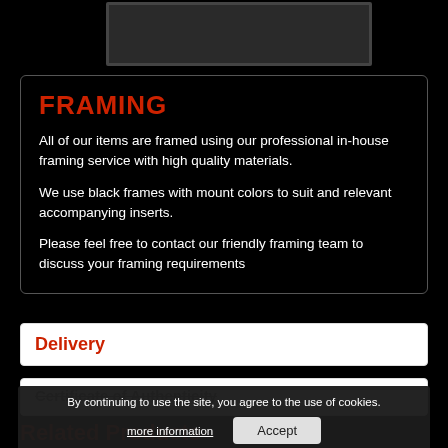[Figure (photo): Partial image of a framed item in dark frame, cropped at top of page]
FRAMING
All of our items are framed using our professional in-house framing service with high quality materials.
We use black frames with mount colors to suit and relevant accompanying inserts.
Please feel free to contact our friendly framing team to discuss your framing requirements
Delivery
Certificate of Authenticity
By continuing to use the site, you agree to the use of cookies.
more information
Accept
Related Products